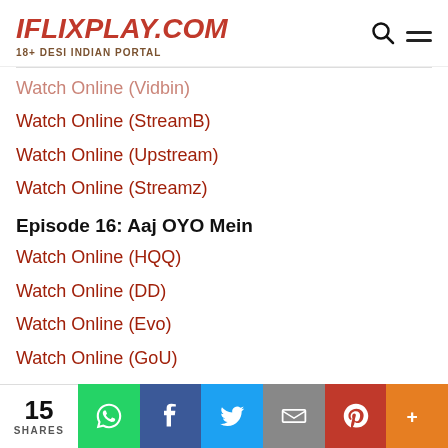IFLIXPLAY.COM — 18+ DESI INDIAN PORTAL
Watch Online (Vidbin)
Watch Online (StreamB)
Watch Online (Upstream)
Watch Online (Streamz)
Episode 16: Aaj OYO Mein
Watch Online (HQQ)
Watch Online (DD)
Watch Online (Evo)
Watch Online (GoU)
Watch Online (Streamtape)
15 SHARES